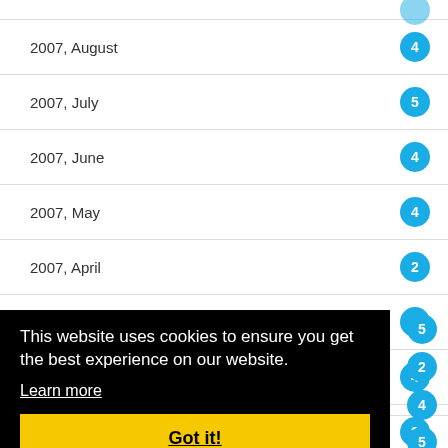2007, August
2007, July
2007, June
2007, May
2007, April
2007, March
2007, February
This website uses cookies to ensure you get the best experience on our website. Learn more Got it!
2006, July